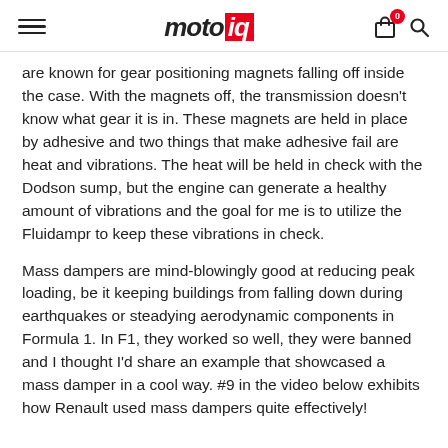motoiq
are known for gear positioning magnets falling off inside the case. With the magnets off, the transmission doesn't know what gear it is in. These magnets are held in place by adhesive and two things that make adhesive fail are heat and vibrations. The heat will be held in check with the Dodson sump, but the engine can generate a healthy amount of vibrations and the goal for me is to utilize the Fluidampr to keep these vibrations in check.
Mass dampers are mind-blowingly good at reducing peak loading, be it keeping buildings from falling down during earthquakes or steadying aerodynamic components in Formula 1. In F1, they worked so well, they were banned and I thought I'd share an example that showcased a mass damper in a cool way. #9 in the video below exhibits how Renault used mass dampers quite effectively!